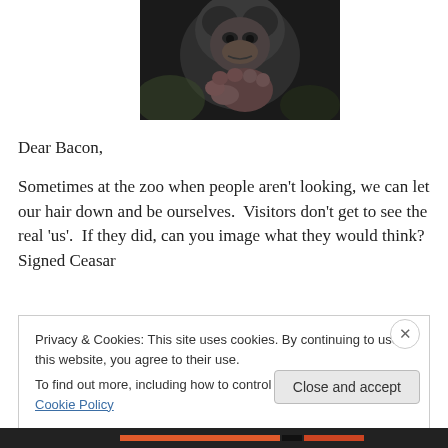[Figure (photo): Close-up photo of a chimpanzee, dark fur, hand/fist visible in the foreground against a blurred background]
Dear Bacon,
Sometimes at the zoo when people aren't looking, we can let our hair down and be ourselves.  Visitors don't get to see the real 'us'.  If they did, can you image what they would think?  Signed Ceasar
Privacy & Cookies: This site uses cookies. By continuing to use this website, you agree to their use.
To find out more, including how to control cookies, see here: Cookie Policy
Close and accept